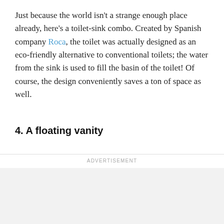Just because the world isn't a strange enough place already, here's a toilet-sink combo. Created by Spanish company Roca, the toilet was actually designed as an eco-friendly alternative to conventional toilets; the water from the sink is used to fill the basin of the toilet! Of course, the design conveniently saves a ton of space as well.
4. A floating vanity
ADVERTISEMENT
REMODELAHOLIC